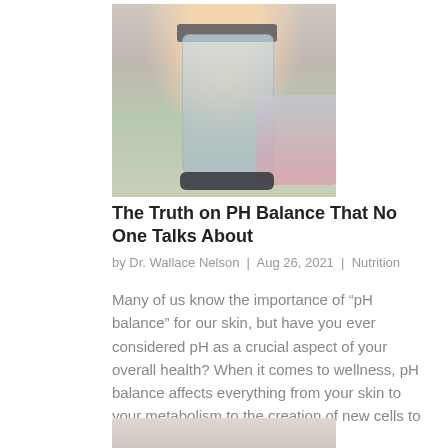[Figure (photo): A woman smiling while holding a blender containing a pink smoothie with green leaves, with a plant in the background.]
The Truth on PH Balance That No One Talks About
by Dr. Wallace Nelson | Aug 26, 2021 | Nutrition
Many of us know the importance of “pH balance” for our skin, but have you ever considered pH as a crucial aspect of your overall health? When it comes to wellness, pH balance affects everything from your skin to your metabolism to the creation of new cells to the…
[Figure (photo): Partial view of a second article image at the bottom of the page.]